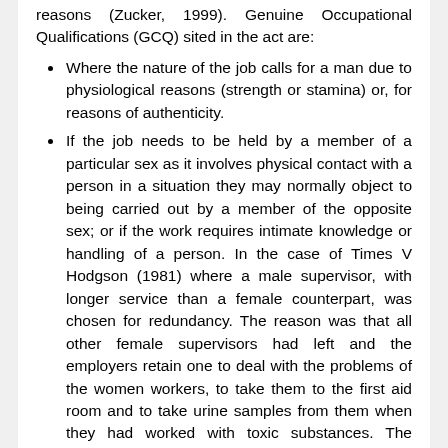reasons (Zucker, 1999). Genuine Occupational Qualifications (GCQ) sited in the act are:
Where the nature of the job calls for a man due to physiological reasons (strength or stamina) or, for reasons of authenticity.
If the job needs to be held by a member of a particular sex as it involves physical contact with a person in a situation they may normally object to being carried out by a member of the opposite sex; or if the work requires intimate knowledge or handling of a person. In the case of Times V Hodgson (1981) where a male supervisor, with longer service than a female counterpart, was chosen for redundancy. The reason was that all other female supervisors had left and the employers retain one to deal with the problems of the women workers, to take them to the first aid room and to take urine samples from them when they had worked with toxic substances. The tribunal held that the employer had discriminated against the man, but that GCQ existed.
The job involves living on the employer's premises, there is no separate sleeping or sanitary...